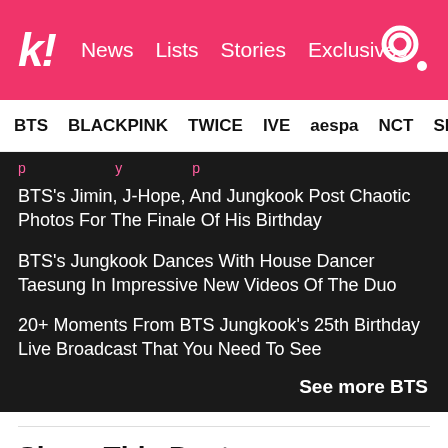k! News Lists Stories Exclusives
BTS BLACKPINK TWICE IVE aespa NCT SEVE
BTS's Jimin, J-Hope, And Jungkook Post Chaotic Photos For The Finale Of His Birthday
BTS's Jungkook Dances With House Dancer Taesung In Impressive New Videos Of The Duo
20+ Moments From BTS Jungkook's 25th Birthday Live Broadcast That You Need To See
See more BTS
Share This Post